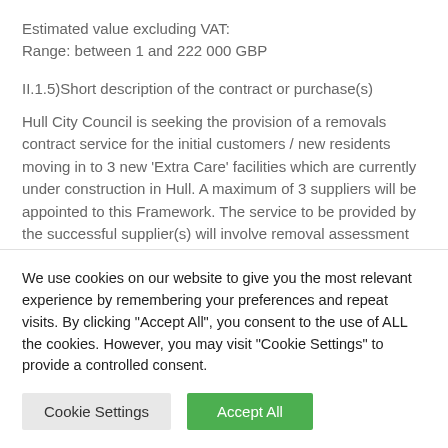Estimated value excluding VAT:
Range: between 1 and 222 000 GBP
II.1.5)Short description of the contract or purchase(s)
Hull City Council is seeking the provision of a removals contract service for the initial customers / new residents moving in to 3 new 'Extra Care' facilities which are currently under construction in Hull. A maximum of 3 suppliers will be appointed to this Framework. The service to be provided by the successful supplier(s) will involve removal assessment and costing including provision of a packing / unpacking
We use cookies on our website to give you the most relevant experience by remembering your preferences and repeat visits. By clicking "Accept All", you consent to the use of ALL the cookies. However, you may visit "Cookie Settings" to provide a controlled consent.